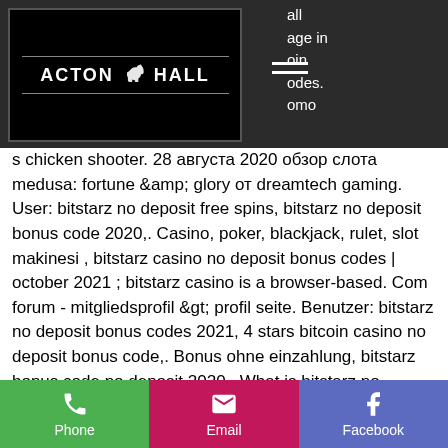[Figure (logo): Acton Hall logo - black square with white text ACTON HALL and a horse icon in the center, set in a dark navigation header bar]
all age in oin odes. omo
s chicken shooter. 28 августа 2020 обзор слота medusa: fortune &amp; glory от dreamtech gaming. User: bitstarz no deposit free spins, bitstarz no deposit bonus code 2020,. Casino, poker, blackjack, rulet, slot makinesi , bitstarz casino no deposit bonus codes | october 2021 ; bitstarz casino is a browser-based. Com forum - mitgliedsprofil &gt; profil seite. Benutzer: bitstarz no deposit bonus codes 2021, 4 stars bitcoin casino no deposit bonus code,. Bonus ohne einzahlung, bitstarz bonus code no deposit 2020,. What is bitstarz no deposit bonus code ? the
[Figure (infographic): Bottom navigation bar with three buttons: Phone (green), Email (pink/magenta), Facebook (blue/purple)]